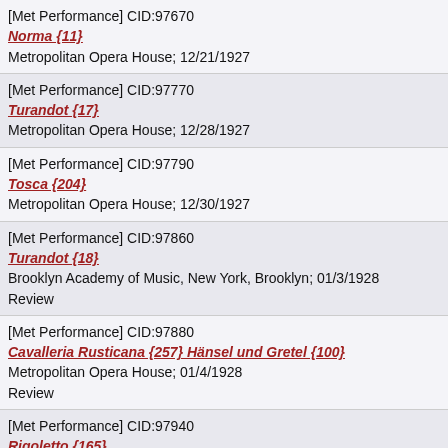[Met Performance] CID:97670
Norma {11}
Metropolitan Opera House; 12/21/1927
[Met Performance] CID:97770
Turandot {17}
Metropolitan Opera House; 12/28/1927
[Met Performance] CID:97790
Tosca {204}
Metropolitan Opera House; 12/30/1927
[Met Performance] CID:97860
Turandot {18}
Brooklyn Academy of Music, New York, Brooklyn; 01/3/1928
Review
[Met Performance] CID:97880
Cavalleria Rusticana {257} Hänsel und Gretel {100}
Metropolitan Opera House; 01/4/1928
Review
[Met Performance] CID:97940
Rigoletto {165}
Metropolitan Opera House; 01/9/1928
Review
[Met Performance] CID:97980
La Traviata {148}
Metropolitan Opera House; 01/13/1928
Review
[Met Performance] CID:98050
Faust {362}
American Academy of Music, Philadelphia, Pennsylvania; 01/17/1928